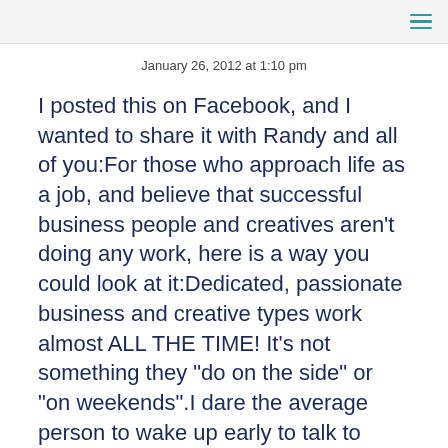January 26, 2012 at 1:10 pm
I posted this on Facebook, and I wanted to share it with Randy and all of you:For those who approach life as a job, and believe that successful business people and creatives aren't doing any work, here is a way you could look at it:Dedicated, passionate business and creative types work almost ALL THE TIME! It's not something they "do on the side" or "on weekends".I dare the average person to wake up early to talk to other people half a world away just to get advice and encouragement. I dare the average person to put up with "you'll never amount